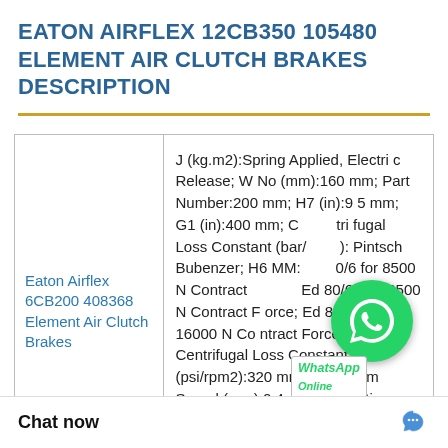EATON AIRFLEX 12CB350 105480 ELEMENT AIR CLUTCH BRAKES DESCRIPTION
| Product | Description |
| --- | --- |
| Eaton Airflex 6CB200 408368 Element Air Clutch Brakes | J (kg.m2):Spring Applied, Electric Release; W No (mm):160 mm; Part Number:200 mm; H7 (in):95 mm; G1 (in):400 mm; Centrifugal Loss Constant (bar/rpm2): Pintsch Bubenzer; H6 MM:Ed 50/6 for 8500 N Contract Force; Ed 80/6 for 12500 N Contract Force; Ed 80/7bb for 16000 N Contract Force; Cs Centrifugal Loss Constant (psi/rpm2):320 mm; Maximum Speed (rpm):0.4; Torque Rating (lb.in @75 psi):97 kg; Weight Wk2 (lb ft2):1085 Nm; D25 H7 Inch:2050 Nm; |
Chat now